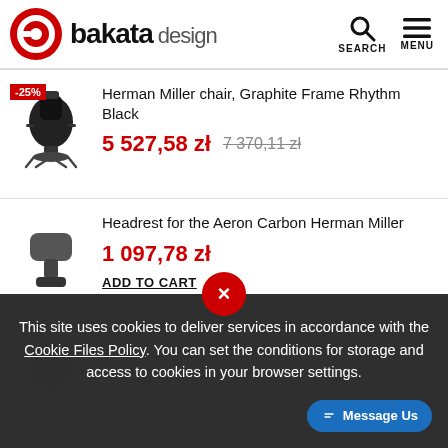bakata design
Herman Miller chair, Graphite Frame Rhythm Black
5 527,58 zł  7 370,11 zł
Headrest for the Aeron Carbon Herman Miller
1 097,78 zł
ADD TO CART
Herman Miller Aeron Graphite Chair OCT
7 525,54 zł
ADD TO CART
This site uses cookies to deliver services in accordance with the Cookie Files Policy. You can set the conditions for storage and access to cookies in your browser settings.